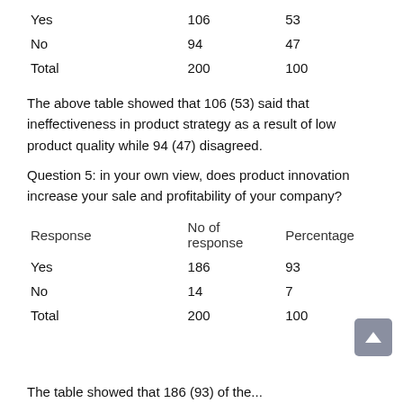| Response | No of response | Percentage |
| --- | --- | --- |
| Yes | 106 | 53 |
| No | 94 | 47 |
| Total | 200 | 100 |
The above table showed that 106 (53) said that ineffectiveness in product strategy as a result of low product quality while 94 (47) disagreed.
Question 5: in your own view, does product innovation increase your sale and profitability of your company?
| Response | No of response | Percentage |
| --- | --- | --- |
| Yes | 186 | 93 |
| No | 14 | 7 |
| Total | 200 | 100 |
The table showed that 186 (93) of the...